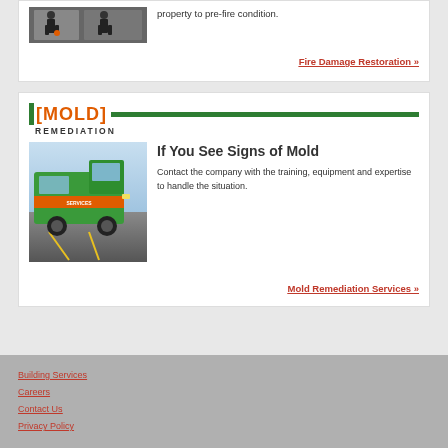[Figure (photo): Two people in dark uniforms standing in a room, fire damage restoration context]
property to pre-fire condition.
Fire Damage Restoration »
[MOLD] REMEDIATION
[Figure (photo): A green SERVPRO van driving on a road]
If You See Signs of Mold
Contact the company with the training, equipment and expertise to handle the situation.
Mold Remediation Services »
Building Services
Careers
Contact Us
Privacy Policy